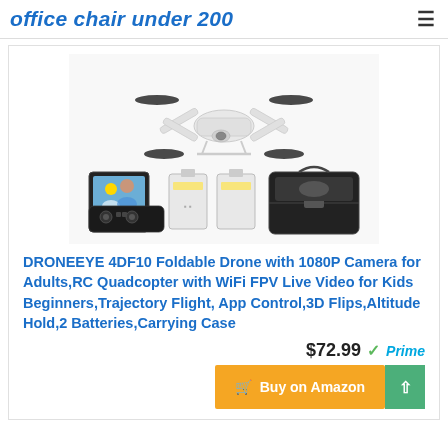office chair under 200
[Figure (photo): Product photo of DRONEEYE 4DF10 foldable drone, shown with remote controller, two batteries, carrying case, and a smartphone showing FPV live video.]
DRONEEYE 4DF10 Foldable Drone with 1080P Camera for Adults,RC Quadcopter with WiFi FPV Live Video for Kids Beginners,Trajectory Flight, App Control,3D Flips,Altitude Hold,2 Batteries,Carrying Case
$72.99 Prime
Buy on Amazon